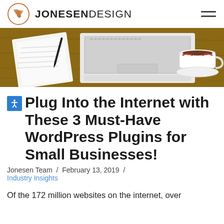JONESEN DESIGN
[Figure (photo): Top-down view of a wooden desk with a white laptop, open notebook with pen, and a cup of coffee on a saucer]
Plug Into the Internet with These 3 Must-Have WordPress Plugins for Small Businesses!
Jonesen Team / February 13, 2019 / Industry Insights
Of the 172 million websites on the internet, over